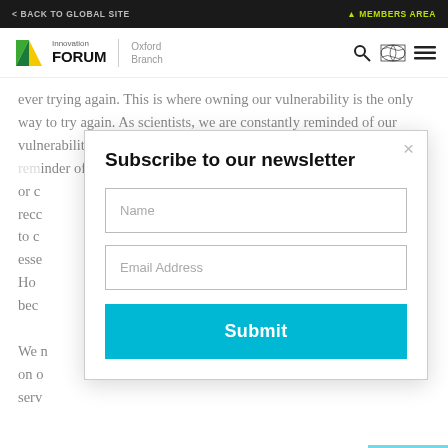< BACK TO GLOBAL SITE | MEMBERS AREA
[Figure (logo): Innovation Forum Oxford Branch logo with green/yellow triangle]
ever trying again. This is where owning our vulnerability is the only way to try again. As scientists, we are constantly reminded of our vulnerability. Failure is the backbone of a project; a rele... or c... recc... to c... esse... Ho... bec...
Subscribe to our newsletter
We ... on o... serv...